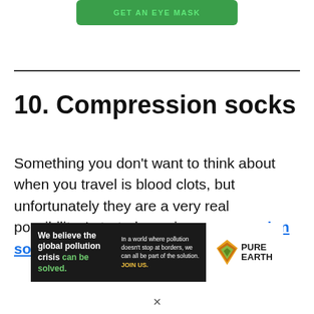[Figure (other): Green button with text GET AN EYE MASK]
10.  Compression socks
Something you don't want to think about when you travel is blood clots, but unfortunately they are a very real possibility. I started wearing compression socks when I
[Figure (other): Pure Earth advertisement banner. Left side dark background: 'We believe the global pollution crisis can be solved.' Right side white background with Pure Earth logo and diamond icon.]